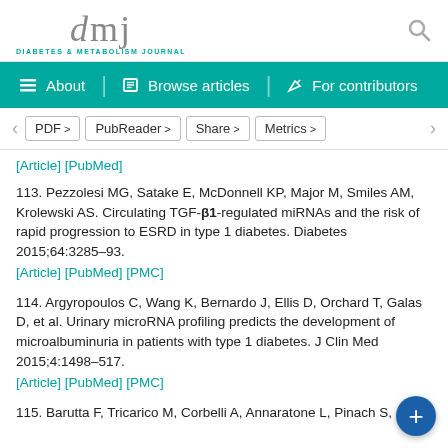dmj DIABETES & METABOLISM JOURNAL
[Article] [PubMed]
113. Pezzolesi MG, Satake E, McDonnell KP, Major M, Smiles AM, Krolewski AS. Circulating TGF-β1-regulated miRNAs and the risk of rapid progression to ESRD in type 1 diabetes. Diabetes 2015;64:3285–93.
[Article] [PubMed] [PMC]
114. Argyropoulos C, Wang K, Bernardo J, Ellis D, Orchard T, Galas D, et al. Urinary microRNA profiling predicts the development of microalbuminuria in patients with type 1 diabetes. J Clin Med 2015;4:1498–517.
[Article] [PubMed] [PMC]
115. Barutta F, Tricarico M, Corbelli A, Annaratone L, Pinach S,